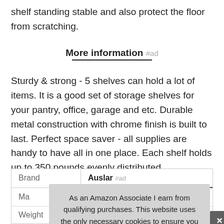shelf standing stable and also protect the floor from scratching.
More information #ad
Sturdy & strong - 5 shelves can hold a lot of items. It is a good set of storage shelves for your pantry, office, garage and etc. Durable metal construction with chrome finish is built to last. Perfect space saver - all supplies are handy to have all in one place. Each shelf holds up to 350 pounds evenly distributed.
|  |  |
| --- | --- |
| Brand | Auslar #ad |
| Ma |  |
|  |  |
| Weight | 30.86 Pounds |
As an Amazon Associate I earn from qualifying purchases. This website uses the only necessary cookies to ensure you get the best experience on our website. More information